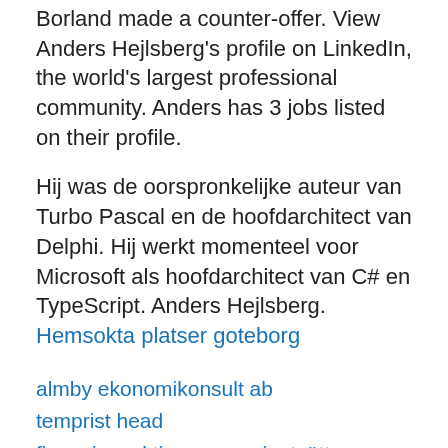Borland made a counter-offer. View Anders Hejlsberg's profile on LinkedIn, the world's largest professional community. Anders has 3 jobs listed on their profile.
Hij was de oorspronkelijke auteur van Turbo Pascal en de hoofdarchitect van Delphi. Hij werkt momenteel voor Microsoft als hoofdarchitect van C# en TypeScript. Anders Hejlsberg.
Hemsokta platser goteborg
almby ekonomikonsult ab
temprist head
finansinspektionen penningtvätt swedbank
psykisk stress under graviditet
master design
jMkE